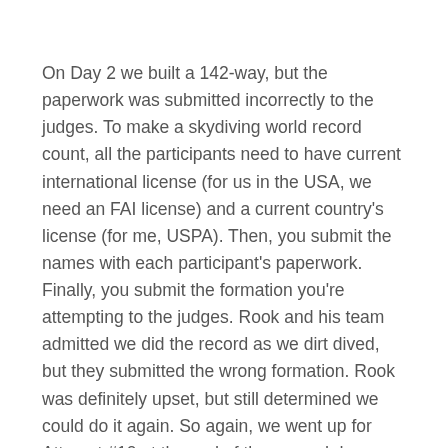On Day 2 we built a 142-way, but the paperwork was submitted incorrectly to the judges. To make a skydiving world record count, all the participants need to have current international license (for us in the USA, we need an FAI license) and a current country's license (for me, USPA). Then, you submit the names with each participant's paperwork. Finally, you submit the formation you're attempting to the judges. Rook and his team admitted we did the record as we dirt dived, but they submitted the wrong formation. Rook was definitely upset, but still determined we could do it again. So again, we went up for Attempt #10 at the end of the second day.